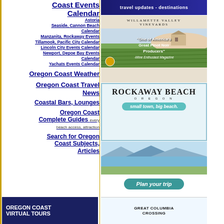Coast Events Calendar
Astoria
Seaside, Cannon Beach Calendar
Manzanita, Rockaway Events
Tillamook, Pacific City Calendar
Lincoln City Events Calendar
Newport, Depoe Bay Events Calendar
Yachats Events Calendar
Oregon Coast Weather
Oregon Coast Travel News
Coastal Bars, Lounges
Oregon Coast Complete Guides every beach access, attraction
Search for Oregon Coast Subjects, Articles
[Figure (advertisement): travel updates - destinations banner ad, dark blue background]
[Figure (advertisement): Willamette Valley Vineyards ad - One of America's Great Pinot Noir Producers - Wine Enthusiast Magazine]
[Figure (advertisement): Rockaway Beach Oregon - small town, big beach]
[Figure (advertisement): Plan your trip - Rockaway Beach landscape photo with teal button]
[Figure (advertisement): Oregon Coast Virtual Tours - dark blue ad]
[Figure (advertisement): Great Columbia Crossing ad]